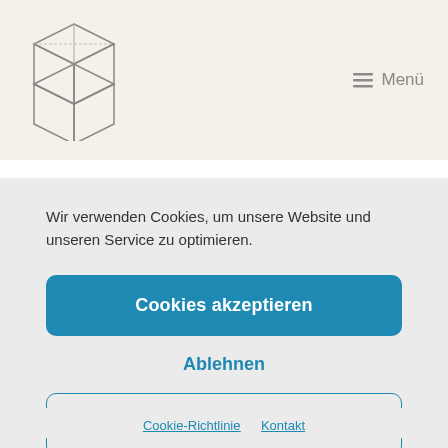[Figure (logo): Geometric cube/box wireframe logo sketch in gray outlines]
☰ Menü
Wir verwenden Cookies, um unsere Website und unseren Service zu optimieren.
Cookies akzeptieren
Ablehnen
Einstellungen anzeigen
Cookie-Richtlinie   Kontakt